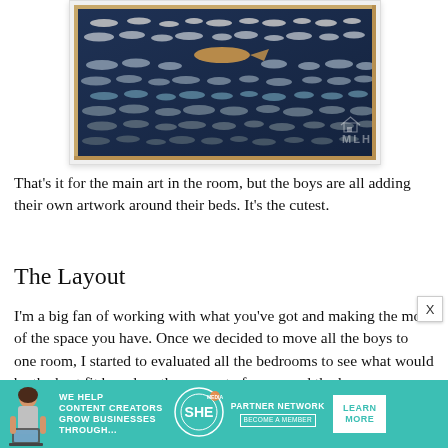[Figure (photo): A framed poster of various shark species arranged in rows on a dark navy blue background, displayed on a wall. The frame is light wood. A watermark 'MLH' with a house icon is visible in the bottom right of the image.]
That's it for the main art in the room, but the boys are all adding their own artwork around their beds. It's the cutest.
The Layout
I'm a big fan of working with what you've got and making the most of the space you have. Once we decided to move all the boys to one room, I started to evaluated all the bedrooms to see what would be the best fit based on the amount of space and the layou
[Figure (advertisement): A teal/green advertisement banner for SHE Media Partner Network. Shows a woman with laptop, text 'WE HELP CONTENT CREATORS GROW BUSINESSES THROUGH...' with SHE logo, 'PARTNER NETWORK BECOME A MEMBER', and a white 'LEARN MORE' button.]